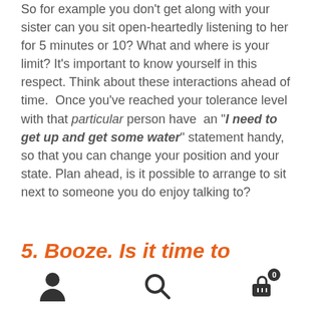So for example you don't get along with your sister can you sit open-heartedly listening to her for 5 minutes or 10? What and where is your limit? It's important to know yourself in this respect. Think about these interactions ahead of time.  Once you've reached your tolerance level with that particular person have  an "I need to get up and get some water" statement handy, so that you can change your position and your state. Plan ahead, is it possible to arrange to sit next to someone you do enjoy talking to?
5. Booze. Is it time to monitor your
user / search / cart icons